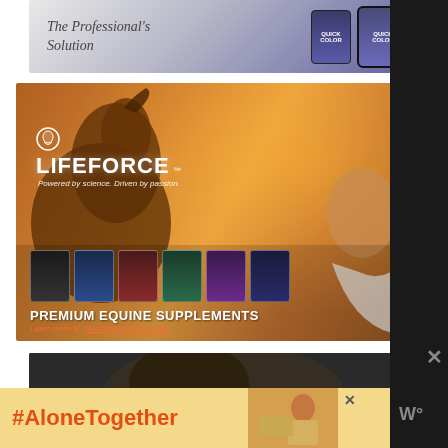[Figure (photo): Top advertisement banner with italic text 'The Professional's Solution' on left and two product containers (blue/purple packaging) on right, against a light-to-purple gradient background.]
[Figure (photo): LifeForce advertisement. Background shows a close-up of a horse's face on the left and a woman tilting her head back with eyes closed on the right, warm orange/golden tones. Logo shows a horse head icon followed by LIFEFORCE™ text and tagline 'Powered by science. Driven by passion.' Bottom section shows row of 6 product supplement packages in various colors, heading 'PREMIUM EQUINE SUPPLEMENTS' and URL 'Learn more at: www.lifeforcehorse.com'.]
[Figure (photo): Partial bottom advertisement showing what appears to be a dark horse photograph, partially visible at the bottom of the page.]
[Figure (photo): #AloneTogether banner ad in yellow/gold background with orange hashtag text '#AloneTogether' on left, a small photo of a woman working at a table on right, and a close X button visible.]